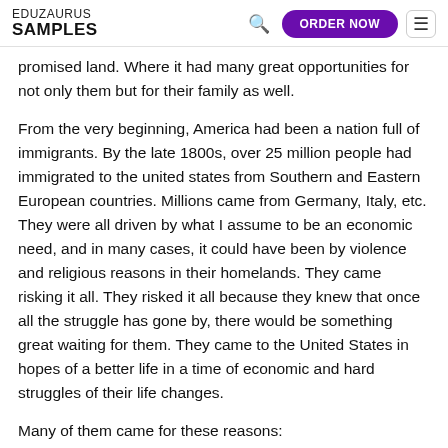EDUZAURUS SAMPLES
promised land. Where it had many great opportunities for not only them but for their family as well.
From the very beginning, America had been a nation full of immigrants. By the late 1800s, over 25 million people had immigrated to the united states from Southern and Eastern European countries. Millions came from Germany, Italy, etc. They were all driven by what I assume to be an economic need, and in many cases, it could have been by violence and religious reasons in their homelands. They came risking it all. They risked it all because they knew that once all the struggle has gone by, there would be something great waiting for them. They came to the United States in hopes of a better life in a time of economic and hard struggles of their life changes.
Many of them came for these reasons: